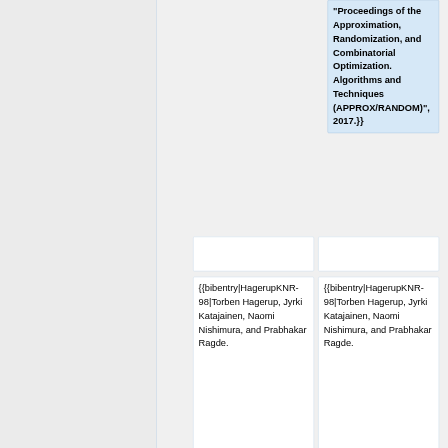"Proceedings of the Approximation, Randomization, and Combinatorial Optimization. Algorithms and Techniques (APPROX/RANDOM)", 2017.}}
{{bibentry|HagerupKNR-98|Torben Hagerup, Jyrki Katajainen, Naomi Nishimura, and Prabhakar Ragde.
{{bibentry|HagerupKNR-98|Torben Hagerup, Jyrki Katajainen, Naomi Nishimura, and Prabhakar Ragde.